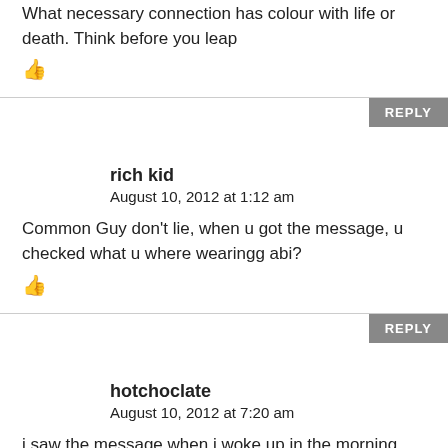What necessary connection has colour with life or death. Think before you leap
👍
REPLY
rich kid
August 10, 2012 at 1:12 am
Common Guy don't lie, when u got the message, u checked what u where wearingg abi?
👍
REPLY
hotchoclate
August 10, 2012 at 7:20 am
i saw the message when i woke up in the morning and i decided i was going to wear RED!!!! but unfortunately for the perpetrators of that news i no see red cloth wear so